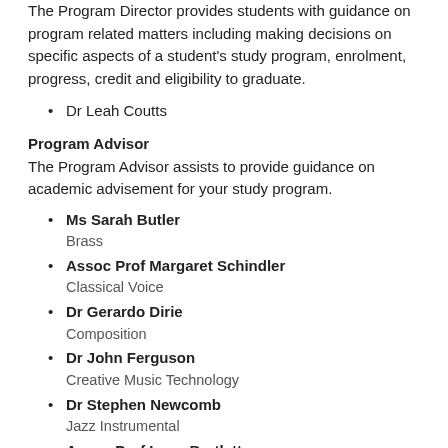The Program Director provides students with guidance on program related matters including making decisions on specific aspects of a student's study program, enrolment, progress, credit and eligibility to graduate.
Dr Leah Coutts
Program Advisor
The Program Advisor assists to provide guidance on academic advisement for your study program.
Ms Sarah Butler
Brass
Assoc Prof Margaret Schindler
Classical Voice
Dr Gerardo Dirie
Composition
Dr John Ferguson
Creative Music Technology
Dr Stephen Newcomb
Jazz Instrumental
Assoc Prof Irene Bartlett
Jazz Voice
Mrs Natasha Vlassenko
Keyboard